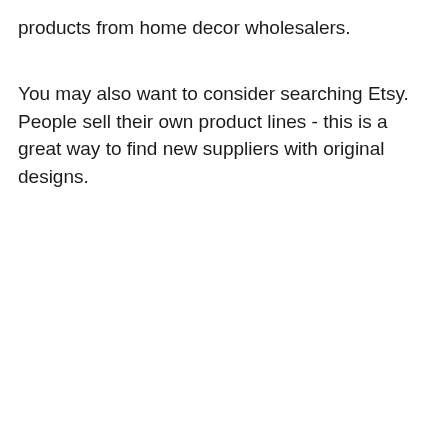products from home decor wholesalers.
You may also want to consider searching Etsy. People sell their own product lines - this is a great way to find new suppliers with original designs.